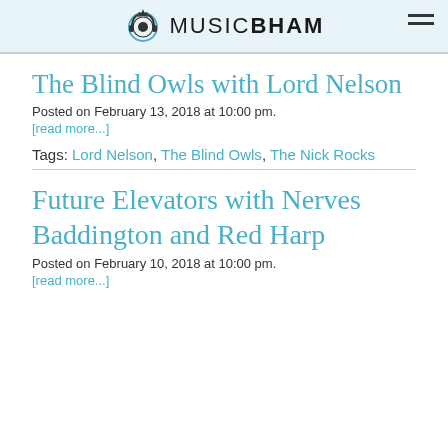MUSICBHAM
The Blind Owls with Lord Nelson
Posted on February 13, 2018 at 10:00 pm.
[read more...]
Tags: Lord Nelson, The Blind Owls, The Nick Rocks
Future Elevators with Nerves Baddington and Red Harp
Posted on February 10, 2018 at 10:00 pm.
[read more...]